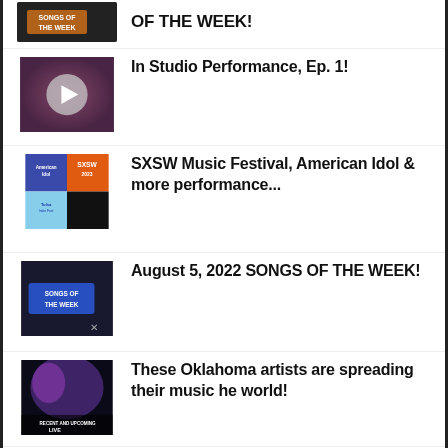[Figure (screenshot): Thumbnail showing SONGS OF THE WEEK text on dark background]
OF THE WEEK!
[Figure (screenshot): Video thumbnail with play button on purple/dark background]
In Studio Performance, Ep. 1!
[Figure (screenshot): Collage thumbnail with American Idol, SXSW 2023, and other festival images]
SXSW Music Festival, American Idol & more performance...
[Figure (screenshot): Thumbnail showing SONGS OF THE WEEK text with X mark]
August 5, 2022 SONGS OF THE WEEK!
[Figure (screenshot): Concert photo with purple stage lighting, RECENT AND UPCOMING LIVE text]
These Oklahoma artists are spreading their music he world!